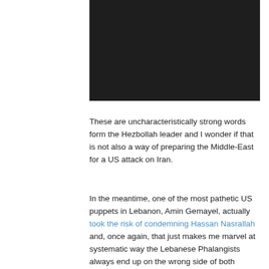[Figure (photo): A dark/black image block, likely a video or photo placeholder]
These are uncharacteristically strong words form the Hezbollah leader and I wonder if that is not also a way of preparing the Middle-East for a US attack on Iran.
In the meantime, one of the most pathetic US puppets in Lebanon, Amin Gemayel, actually took the risk of condemning Hassan Nasrallah and, once again, that just makes me marvel at systematic way the Lebanese Phalangists always end up on the wrong side of both morality and history.